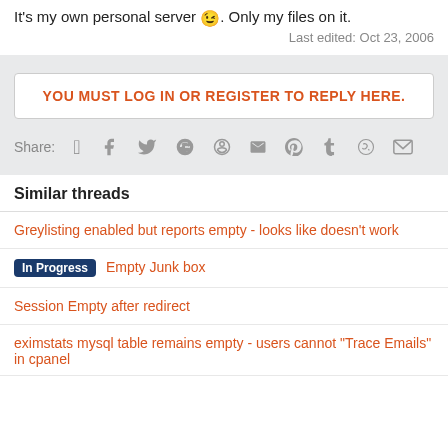It's my own personal server 😉. Only my files on it.
Last edited: Oct 23, 2006
YOU MUST LOG IN OR REGISTER TO REPLY HERE.
Share: [facebook] [twitter] [reddit] [pinterest] [tumblr] [whatsapp] [email]
Similar threads
Greylisting enabled but reports empty - looks like doesn't work
In Progress  Empty Junk box
Session Empty after redirect
eximstats mysql table remains empty - users cannot "Trace Emails" in cpanel